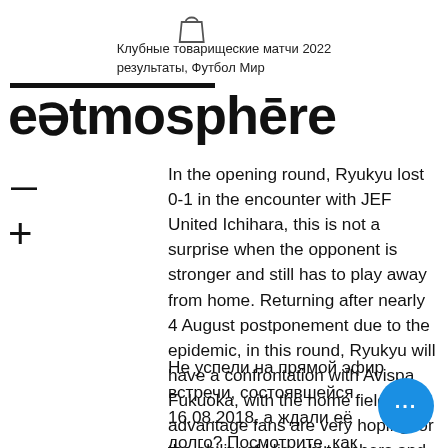Клубные товарищеские матчи 2022 результаты, Футбол Мир
eatmosphere
In the opening round, Ryukyu lost 0-1 in the encounter with JEF United Ichihara, this is not a surprise when the opponent is stronger and still has to play away from home. Returning after nearly 4 August postponement due to the epidemic, in this round, Ryukyu will have a confrontation with Avispa Fukuoka, with the home field advantage fans are very hoping for the ability of Higuchi teachers and
Не успели на прямой эфир встречи, состоявшейся 16.08.2018, а ждали её долго? Посмотрите, как развивались события, оцените красивые моменты и